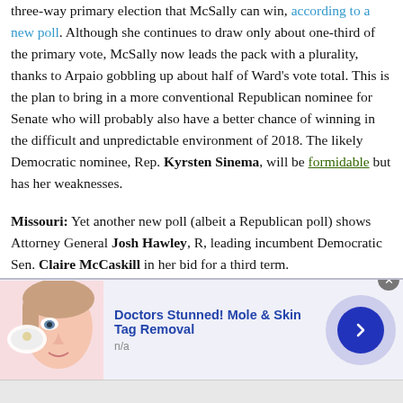three-way primary election that McSally can win, according to a new poll. Although she continues to draw only about one-third of the primary vote, McSally now leads the pack with a plurality, thanks to Arpaio gobbling up about half of Ward's vote total. This is the plan to bring in a more conventional Republican nominee for Senate who will probably also have a better chance of winning in the difficult and unpredictable environment of 2018. The likely Democratic nominee, Rep. Kyrsten Sinema, will be formidable but has her weaknesses.
Missouri: Yet another new poll (albeit a Republican poll) shows Attorney General Josh Hawley, R, leading incumbent Democratic Sen. Claire McCaskill in her bid for a third term.
[Figure (other): Advertisement banner: Doctors Stunned! Mole & Skin Tag Removal, with illustration of a woman's face and a blue arrow button, source labeled n/a]